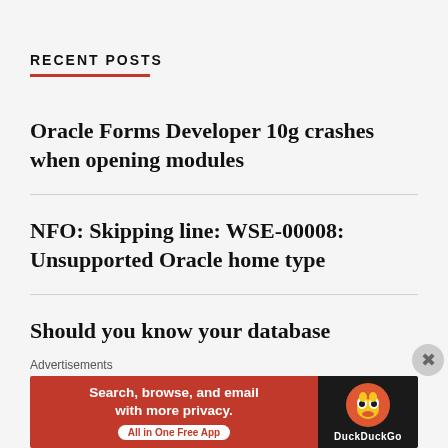RECENT POSTS
Oracle Forms Developer 10g crashes when opening modules
NFO: Skipping line: WSE-00008: Unsupported Oracle home type
Should you know your database technology?
Oracle SQL | Get Month Names & numbers using connect by level
Advertisements
[Figure (screenshot): DuckDuckGo advertisement banner: orange/red background with text 'Search, browse, and email with more privacy. All in One Free App' and DuckDuckGo duck logo on dark background]